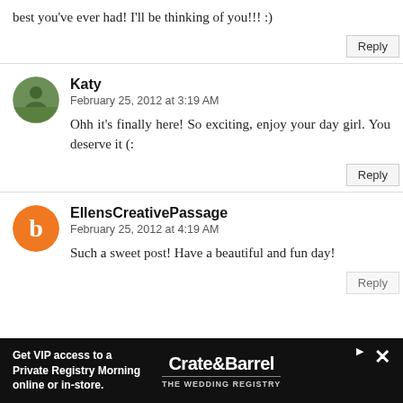best you've ever had! I'll be thinking of you!!! :)
Reply
Katy
February 25, 2012 at 3:19 AM
Ohh it's finally here! So exciting, enjoy your day girl. You deserve it (:
Reply
EllensCreativePassage
February 25, 2012 at 4:19 AM
Such a sweet post! Have a beautiful and fun day!
Reply
[Figure (infographic): Advertisement bar: Crate & Barrel wedding registry ad on black background. Text: 'Get VIP access to a Private Registry Morning online or in-store.' with Crate&Barrel logo and THE WEDDING REGISTRY tagline.]